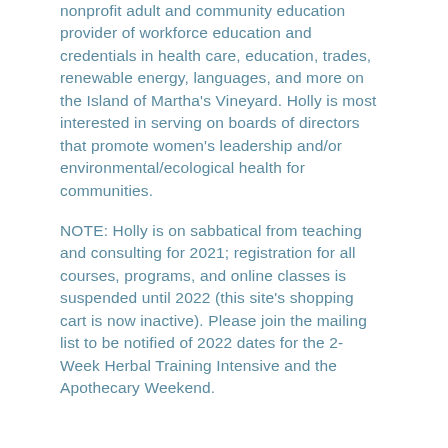nonprofit adult and community education provider of workforce education and credentials in health care, education, trades, renewable energy, languages, and more on the Island of Martha's Vineyard. Holly is most interested in serving on boards of directors that promote women's leadership and/or environmental/ecological health for communities.
NOTE: Holly is on sabbatical from teaching and consulting for 2021; registration for all courses, programs, and online classes is suspended until 2022 (this site's shopping cart is now inactive). Please join the mailing list to be notified of 2022 dates for the 2-Week Herbal Training Intensive and the Apothecary Weekend.